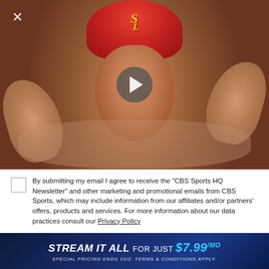[Figure (screenshot): A St. Louis Cardinals baseball player in red helmet celebrating in the dugout, giving high fives, with a video play button overlay and a close (X) button in the top left corner.]
By submitting my email I agree to receive the "CBS Sports HQ Newsletter" and other marketing and promotional emails from CBS Sports, which may include information from our affiliates and/or partners' offers, products and services. For more information about our data practices consult our Privacy Policy
Email Address
[Figure (infographic): Ad banner: STREAM IT ALL FOR JUST $7.99/mo — SPECIAL PRICING ENDS 10/2. TERMS & CONDITIONS APPLY.]